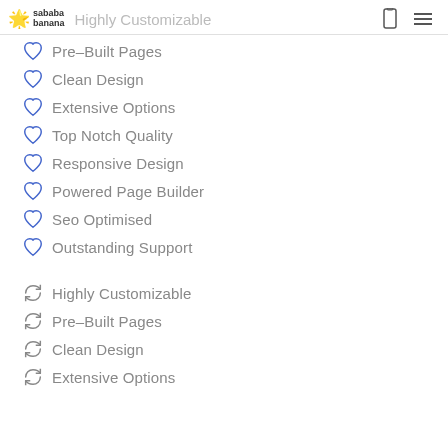sababa banana — Highly Customizable
Pre-Built Pages
Clean Design
Extensive Options
Top Notch Quality
Responsive Design
Powered Page Builder
Seo Optimised
Outstanding Support
Highly Customizable
Pre-Built Pages
Clean Design
Extensive Options